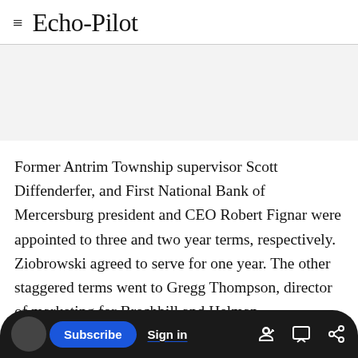Echo-Pilot
Former Antrim Township supervisor Scott Diffenderfer, and First National Bank of Mercersburg president and CEO Robert Fignar were appointed to three and two year terms, respectively. Ziobrowski agreed to serve for one year. The other staggered terms went to Gregg Thompson, director of marketing for Brechbill and Helman Construction, four years; and Pat Fleagle, director of development for Mainstreet